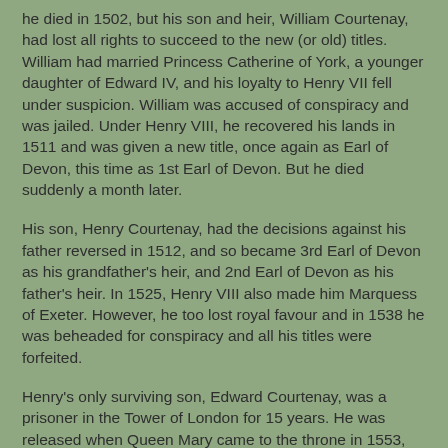he died in 1502, but his son and heir, William Courtenay, had lost all rights to succeed to the new (or old) titles. William had married Princess Catherine of York, a younger daughter of Edward IV, and his loyalty to Henry VII fell under suspicion. William was accused of conspiracy and was jailed. Under Henry VIII, he recovered his lands in 1511 and was given a new title, once again as Earl of Devon, this time as 1st Earl of Devon. But he died suddenly a month later.
His son, Henry Courtenay, had the decisions against his father reversed in 1512, and so became 3rd Earl of Devon as his grandfather's heir, and 2nd Earl of Devon as his father's heir. In 1525, Henry VIII also made him Marquess of Exeter. However, he too lost royal favour and in 1538 he was beheaded for conspiracy and all his titles were forfeited.
Henry's only surviving son, Edward Courtenay, was a prisoner in the Tower of London for 15 years. He was released when Queen Mary came to the throne in 1553, and was made Earl of Devon. Once again, this was a new title, but it was claimed later that this time the letters patent granted the earldom to his heirs male.